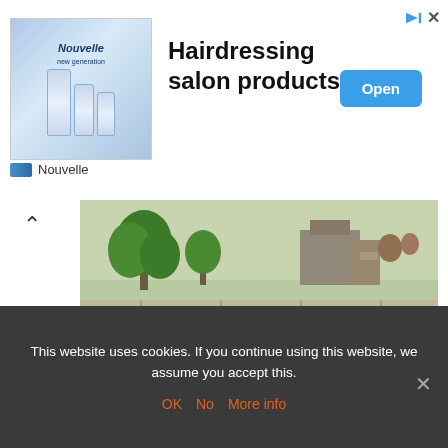[Figure (screenshot): Advertisement banner for Nouvelle hairdressing salon products with product bottles image on left, bold headline text, and blue Open button]
Hairdressing salon products
Nouvelle
[Figure (photo): Outdoor industrial or abandoned site with concrete retaining walls, rusty steel, overgrown vegetation, trees in background]
The path to the complex leads over a long, unmarked forest road paved with concrete slabs.
This website uses cookies. If you continue using this website, we assume you accept this.
OK  No  More info